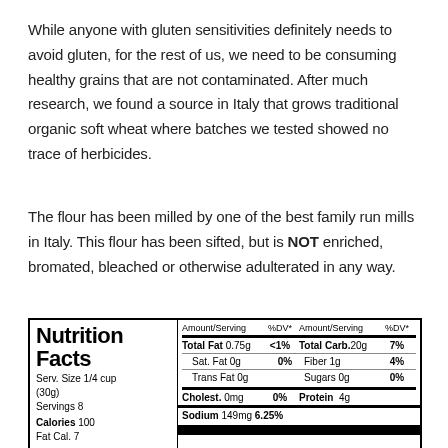While anyone with gluten sensitivities definitely needs to avoid gluten, for the rest of us, we need to be consuming healthy grains that are not contaminated. After much research, we found a source in Italy that grows traditional organic soft wheat where batches we tested showed no trace of herbicides.
The flour has been milled by one of the best family run mills in Italy. This flour has been sifted, but is NOT enriched, bromated, bleached or otherwise adulterated in any way.
|  | Amount/Serving | %DV* | Amount/Serving | %DV* |
| --- | --- | --- | --- | --- |
| Total Fat 0.75g | <1% | Total Carb. 20g | 7% |
| Sat. Fat 0g | 0% | Fiber 1g | 4% |
| Trans Fat 0g |  | Sugars 0g | 0% |
| Cholest. 0mg | 0% | Protein 4g |  |
| Sodium 149mg 6.25% |  |  |  |